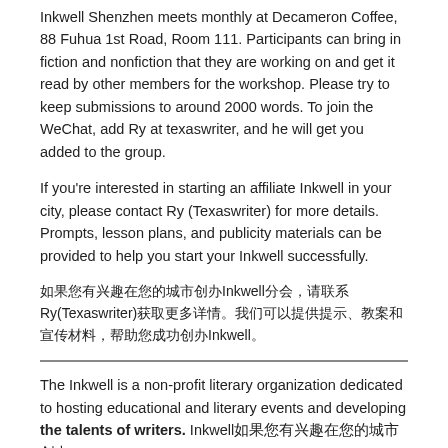Inkwell Shenzhen meets monthly at Decameron Coffee, 88 Fuhua 1st Road, Room 111. Participants can bring in fiction and nonfiction that they are working on and get it read by other members for the workshop. Please try to keep submissions to around 2000 words. To join the WeChat, add Ry at texaswriter, and he will get you added to the group.
If you're interested in starting an affiliate Inkwell in your city, please contact Ry (Texaswriter) for more details. Prompts, lesson plans, and publicity materials can be provided to help you start your Inkwell successfully.
如果您有兴趣在您的城市创办Inkwell分会，请联系Ry(Texaswriter)获取更多详情。我们可以提供提示、教案和宣传材料，帮助您成功创办Inkwell。
The Inkwell is a non-profit literary organization dedicated to hosting educational and literary events and developing the talents of writers. Inkwell如果您有兴趣在您的城市创办